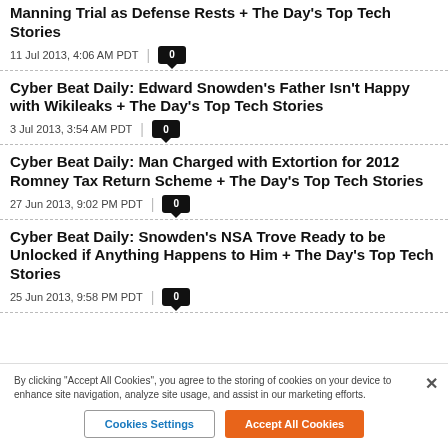Manning Trial as Defense Rests + The Day's Top Tech Stories
11 Jul 2013, 4:06 AM PDT  0
Cyber Beat Daily: Edward Snowden's Father Isn't Happy with Wikileaks + The Day's Top Tech Stories
3 Jul 2013, 3:54 AM PDT  0
Cyber Beat Daily: Man Charged with Extortion for 2012 Romney Tax Return Scheme + The Day's Top Tech Stories
27 Jun 2013, 9:02 PM PDT  0
Cyber Beat Daily: Snowden's NSA Trove Ready to be Unlocked if Anything Happens to Him + The Day's Top Tech Stories
25 Jun 2013, 9:58 PM PDT  0
By clicking "Accept All Cookies", you agree to the storing of cookies on your device to enhance site navigation, analyze site usage, and assist in our marketing efforts.